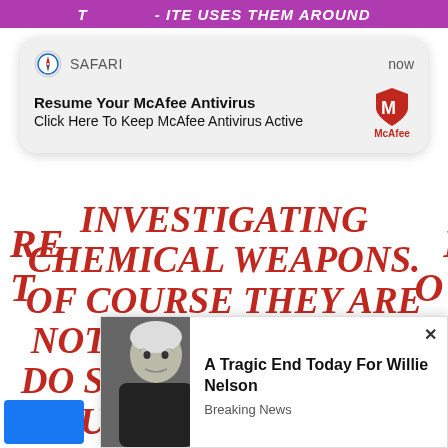[Figure (screenshot): Safari browser notification popup showing McAfee Antivirus ad with McAfee logo]
INVESTIGATING CHEMICAL WEAPONS. OF COURSE THEY ARE NOT SO STUPID AS TO DO SO," MUSLIM TOLD REUTERS ON AUGUST 27, 2013. HE BELIEVES THE ATTACK WAS "AIMED AT FRAMING ASSAD AND PROVOKING AN INTERNATIONAL
[Figure (screenshot): Website ad popup with photo of elderly man (Willie Nelson) and headline 'A Tragic End Today For Willie Nelson' with 'Breaking News' tag and close button]